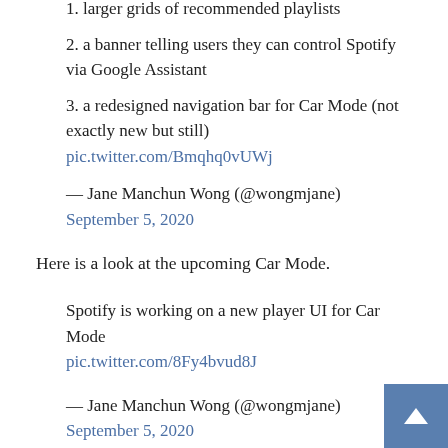1. larger grids of recommended playlists
2. a banner telling users they can control Spotify via Google Assistant
3. a redesigned navigation bar for Car Mode (not exactly new but still) pic.twitter.com/Bmqhq0vUWj
— Jane Manchun Wong (@wongmjane) September 5, 2020
Here is a look at the upcoming Car Mode.
Spotify is working on a new player UI for Car Mode pic.twitter.com/8Fy4bvud8J
— Jane Manchun Wong (@wongmjane) September 5, 2020
Lastly, it seems that they're working on a Karaoke mode: